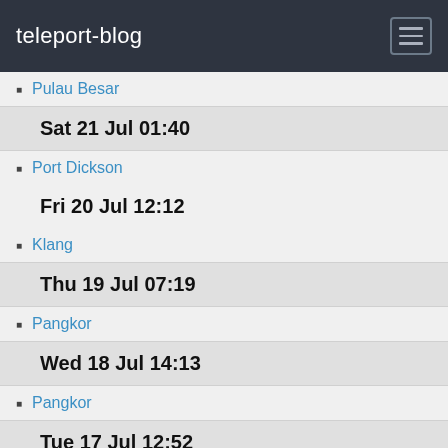teleport-blog
Pulau Besar
Sat 21 Jul 01:40
Port Dickson
Fri 20 Jul 12:12
Klang
Thu 19 Jul 07:19
Pangkor
Wed 18 Jul 14:13
Pangkor
Tue 17 Jul 12:52
Penang
Mon 16 Jul 10:22
Royal Langkawi Yacht Club, Kuah
May 2018
Wed 16 May 00:56